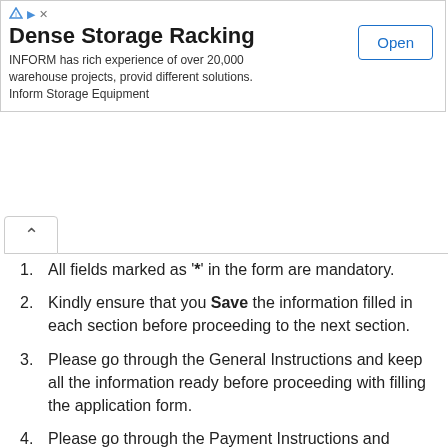[Figure (other): Advertisement banner for Dense Storage Racking by INFORM with an Open button]
All fields marked as '*' in the form are mandatory.
Kindly ensure that you Save the information filled in each section before proceeding to the next section.
Please go through the General Instructions and keep all the information ready before proceeding with filling the application form.
Please go through the Payment Instructions and Payment process demo carefully before proceeding with the application fee payment.
Please note the information entered in the snapshots is for demo purposes only.